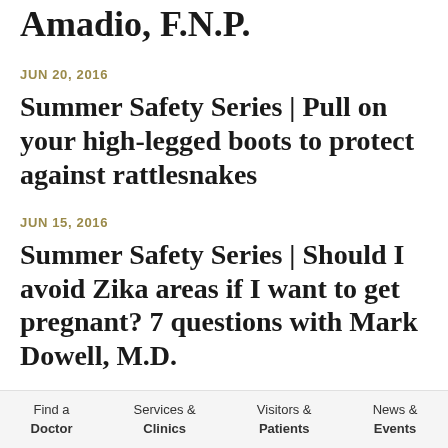Amadio, F.N.P.
JUN 20, 2016
Summer Safety Series | Pull on your high-legged boots to protect against rattlesnakes
JUN 15, 2016
Summer Safety Series | Should I avoid Zika areas if I want to get pregnant? 7 questions with Mark Dowell, M.D.
Find a Doctor | Services & Clinics | Visitors & Patients | News & Events